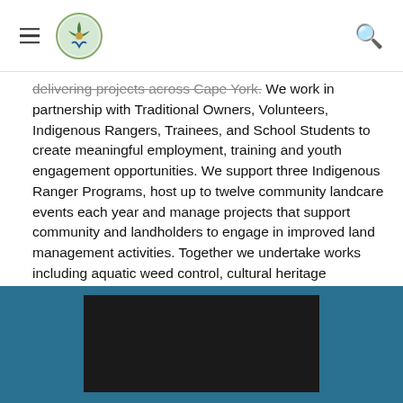[Navigation header with hamburger menu, circular logo, and search icon]
delivering projects across Cape York. We work in partnership with Traditional Owners, Volunteers, Indigenous Rangers, Trainees, and School Students to create meaningful employment, training and youth engagement opportunities. We support three Indigenous Ranger Programs, host up to twelve community landcare events each year and manage projects that support community and landholders to engage in improved land management activities. Together we undertake works including aquatic weed control, cultural heritage protection, revegetation of riparian areas, feral pig exclusion fencing of high value wetlands, water quality monitoring, erosion control, fire management, community landcare programs  and threatened species surveys.
[Figure (other): Teal/blue footer bar with a dark video thumbnail in the center]